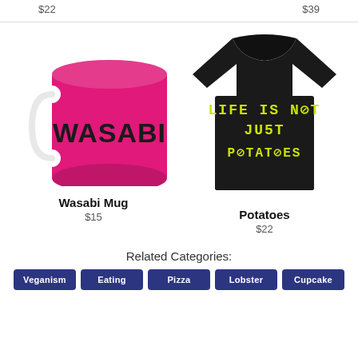$22
$39
[Figure (photo): Pink mug with WASABI text printed in black]
[Figure (photo): Black t-shirt with neon yellow text reading LIFE IS NOT JUST POTATOES]
Wasabi Mug
$15
Potatoes
$22
Related Categories:
Veganism
Eating
Pizza
Lobster
Cupcake